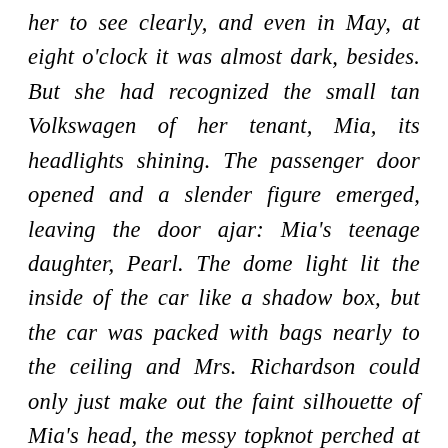her to see clearly, and even in May, at eight o'clock it was almost dark, besides. But she had recognized the small tan Volkswagen of her tenant, Mia, its headlights shining. The passenger door opened and a slender figure emerged, leaving the door ajar: Mia's teenage daughter, Pearl. The dome light lit the inside of the car like a shadow box, but the car was packed with bags nearly to the ceiling and Mrs. Richardson could only just make out the faint silhouette of Mia's head, the messy topknot perched at the crown of her head. Pearl bent over the mailbox, and Mrs. Richardson imagined the faint squeak of the mailbox door opened, then shut. Then Pearly hopped back into the car and closed the door. The brake lights flared